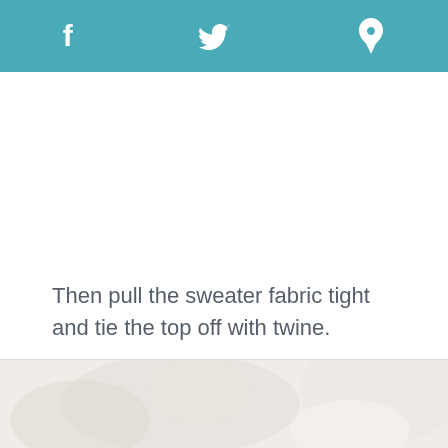f  twitter  p
Then pull the sweater fabric tight and tie the top off with twine.
[Figure (photo): Bottom portion of a photo showing sweater fabric craft project with light/white tones]